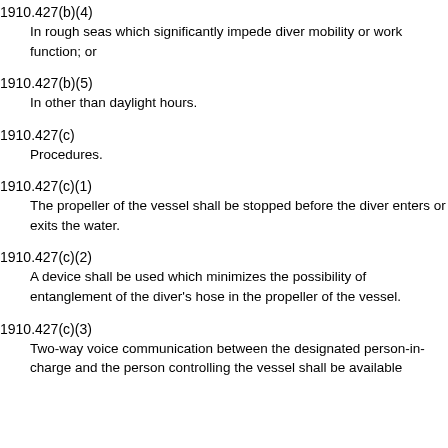1910.427(b)(4)
In rough seas which significantly impede diver mobility or work function; or
1910.427(b)(5)
In other than daylight hours.
1910.427(c)
Procedures.
1910.427(c)(1)
The propeller of the vessel shall be stopped before the diver enters or exits the water.
1910.427(c)(2)
A device shall be used which minimizes the possibility of entanglement of the diver's hose in the propeller of the vessel.
1910.427(c)(3)
Two-way voice communication between the designated person-in-charge and the person controlling the vessel shall be available